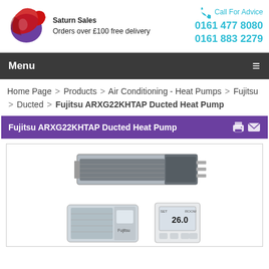Saturn Sales — Orders over £100 free delivery — Call For Advice 0161 477 8080 — 0161 883 2279
Menu
Home Page > Products > Air Conditioning - Heat Pumps > Fujitsu > Ducted > Fujitsu ARXG22KHTAP Ducted Heat Pump
Fujitsu ARXG22KHTAP Ducted Heat Pump
[Figure (photo): Fujitsu ARXG22KHTAP ducted heat pump unit shown from front angle, plus outdoor condenser unit and wired controller below]